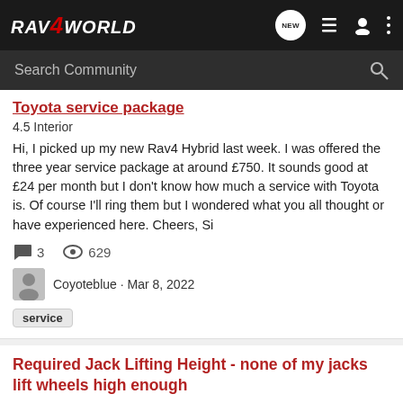RAV4WORLD
Search Community
Toyota service package
4.5 Interior
Hi, I picked up my new Rav4 Hybrid last week. I was offered the three year service package at around £750. It sounds good at £24 per month but I don't know how much a service with Toyota is. Of course I'll ring them but I wondered what you all thought or have experienced here. Cheers, Si
3  629
Coyoteblue · Mar 8, 2022
service
Required Jack Lifting Height - none of my jacks lift wheels high enough